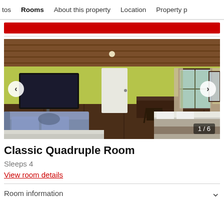tos   Rooms   About this property   Location   Property p
[Figure (photo): Hotel room photo showing a Classic Quadruple Room with wooden ceiling, yellow-green walls, dark wood paneling, a flat-screen TV, a sofa, two beds, curtained window, and a desk area. Image counter shows 1/6.]
Classic Quadruple Room
Sleeps 4
View room details
Room information